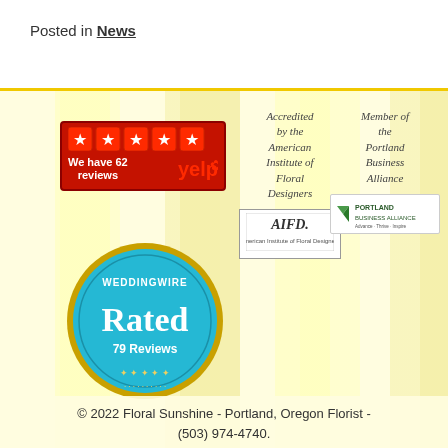Posted in News
[Figure (logo): Yelp badge showing 5 red stars and 'We have 62 reviews' with Yelp logo]
Accredited by the American Institute of Floral Designers
[Figure (logo): AIFD (American Institute of Floral Designers) logo]
Member of the Portland Business Alliance
[Figure (logo): Portland Business Alliance logo]
[Figure (logo): WeddingWire Rated 79 Reviews circular badge in teal/gold]
© 2022 Floral Sunshine - Portland, Oregon Florist - (503) 974-4740.